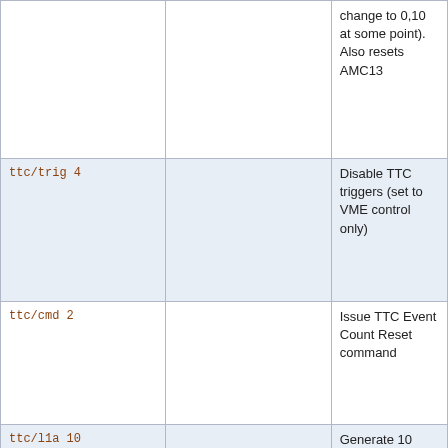|  |  |  |
| --- | --- | --- |
|  |  | change to 0,10 at some point). Also resets AMC13 |
| ttc/trig 4 |  | Disable TTC triggers (set to VME control only) |
| ttc/cmd 2 |  | Issue TTC Event Count Reset command |
| ttc/l1a 10 |  | Generate 10 triggers |
|  | st | Display AMC13 |
|  | Ctrl 0: 02000001 |  |